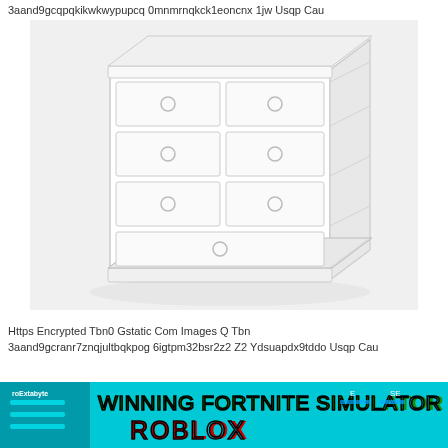3aand9gcqpqkikwkwypupcq 0mnmrnqkck1eoncnx 1jw Usqp Cau
[Figure (photo): White dresser / chest of drawers furniture product image on white background]
Https Encrypted Tbn0 Gstatic Com Images Q Tbn 3aand9gcranr7znqjultbqkpog 6igtpm32bsr2z2 Z2 Ydsuapdx9tddo Usqp Cau
[Figure (screenshot): Winning Fortnite Simulator Roblox thumbnail with teal background and bold text]